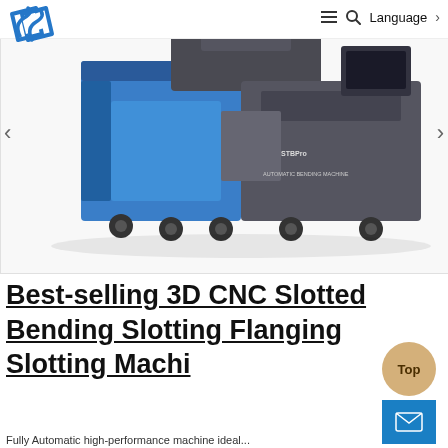Language
[Figure (photo): Blue and grey CNC automatic bending machine (STBPro Automatic Bending Machine) on wheels, photographed against a white background. The machine has a large blue rectangular body on the left and a grey control/processing unit on the right with a display screen on top.]
Best-selling 3D CNC Slotted Bending Slotting Flanging Slotting Machi
Top
(mail icon)